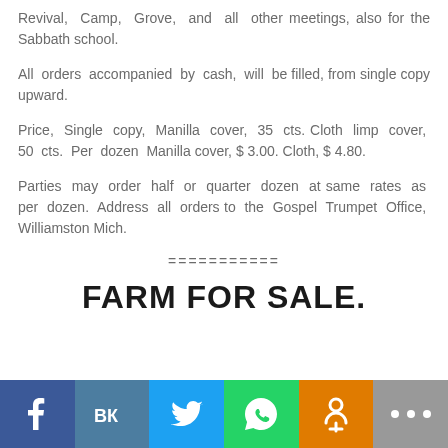Revival, Camp, Grove, and all other meetings, also for the Sabbath school.
All orders accompanied by cash, will be filled, from single copy upward.
Price, Single copy, Manilla cover, 35 cts. Cloth limp cover, 50 cts. Per dozen Manilla cover, $ 3.00. Cloth, $ 4.80.
Parties may order half or quarter dozen at same rates as per dozen. Address all orders to the Gospel Trumpet Office, Williamston Mich.
===========
FARM FOR SALE.
[Figure (infographic): Social media sharing buttons bar: Facebook (blue), VK (steel blue), Twitter (light blue), WhatsApp (green), Odnoklassniki (orange), More/ellipsis (gray)]